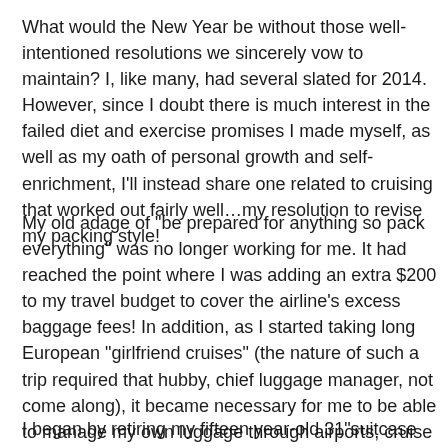What would the New Year be without those well-intentioned resolutions we sincerely vow to maintain? I, like many, had several slated for 2014. However, since I doubt there is much interest in the failed diet and exercise promises I made myself, as well as my oath of personal growth and self-enrichment, I'll instead share one related to cruising that worked out fairly well…my resolution to revise my packing style!
My old adage of "be prepared for anything so pack everything" was no longer working for me. It had reached the point where I was adding an extra $200 to my travel budget to cover the airline's excess baggage fees! In addition, as I started taking long European "girlfriend cruises" (the nature of such a trip required that hubby, chief luggage manager, not come along), it became necessary for me to be able to manage my own luggage through airports, cruise terminals, and cobblestone streets. I was determined to make a change!
I began by retiring my fifteen year-old 31"suitcase for a bright and 25" lightweight spinner. First of all that alone...